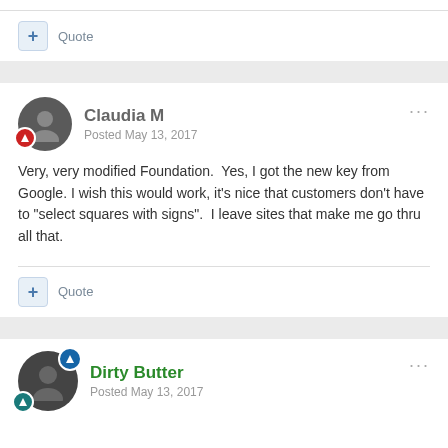+ Quote
Claudia M — Posted May 13, 2017
Very, very modified Foundation.  Yes, I got the new key from Google. I wish this would work, it's nice that customers don't have to "select squares with signs".  I leave sites that make me go thru all that.
+ Quote
Dirty Butter — Posted May 13, 2017